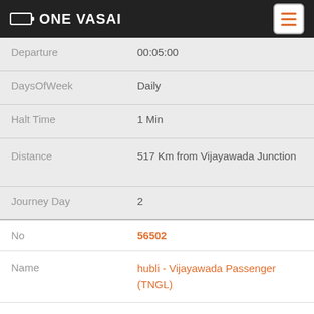ONE VASAI
| Field | Value |
| --- | --- |
| Departure | 00:05:00 |
| DaysOfWeek | Daily |
| Halt Time | 1 Min |
| Distance | 517 Km from Vijayawada Junction |
| Journey Day | 2 |
| No | 56502 |
| Name | hubli - Vijayawada Passenger (TNGL) |
| From | Hubli |
| To | Vijayawada Junction |
| Arrival | 03:09:00 |
| Departure | 03:10:00 |